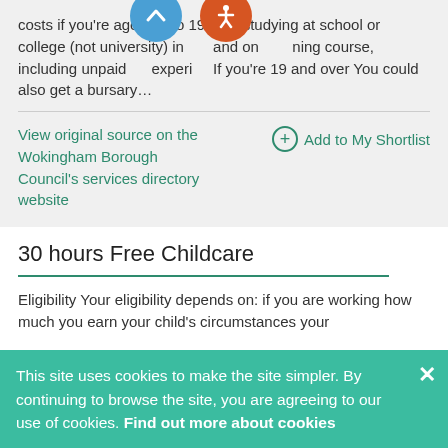costs if you're aged 16 to 19 and: studying at school or college (not university) in England and on a training course, including unpaid work experience. If you're 19 and over You could also get a bursary...
View original source on the Wokingham Borough Council's services directory website
Add to My Shortlist
30 hours Free Childcare
Eligibility Your eligibility depends on: if you are working how much you earn your child's circumstances your
This site uses cookies to make the site simpler. By continuing to browse the site, you are agreeing to our use of cookies. Find out more about cookies